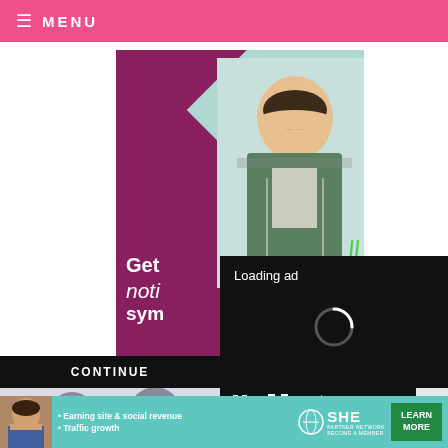≡ MENU
[Figure (photo): Purple/magenta advertisement banner showing a smiling woman in an apron, with white diamond shape, text reading 'Get noti... sym...' and green script accent]
[Figure (screenshot): Black video player overlay showing 'Loading ad' text with spinning loading indicator and video controls (pause, fullscreen, mute)]
CONTINUE
[Figure (photo): Blurred close-up photo of dark blueberries]
[Figure (infographic): SHE Partner Network advertisement banner with teal background, woman photo, bullets: 'Earning site & social revenue', 'Traffic growth', SHE logo, and 'LEARN MORE' green button]